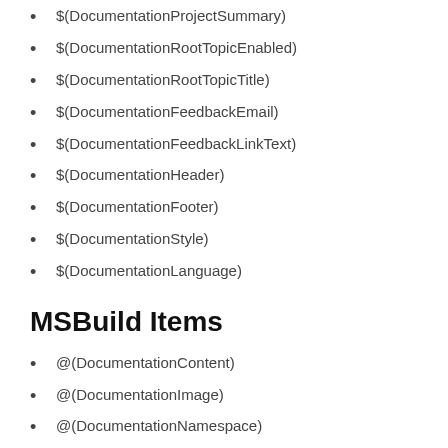$(DocumentationProjectSummary)
$(DocumentationRootTopicEnabled)
$(DocumentationRootTopicTitle)
$(DocumentationFeedbackEmail)
$(DocumentationFeedbackLinkText)
$(DocumentationHeader)
$(DocumentationFooter)
$(DocumentationStyle)
$(DocumentationLanguage)
MSBuild Items
@(DocumentationContent)
@(DocumentationImage)
@(DocumentationNamespace)
@(DocumentationSource)
@(DocumentationReference)
@(DocumentationFrameworkReference)